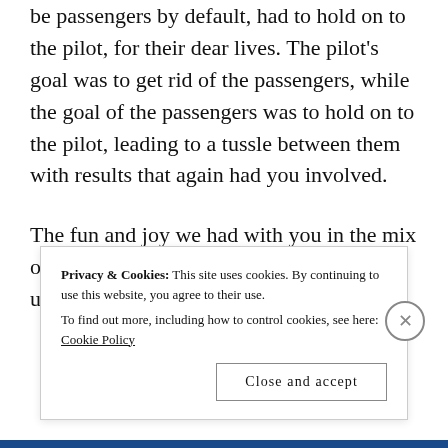be passengers by default, had to hold on to the pilot, for their dear lives. The pilot's goal was to get rid of the passengers, while the goal of the passengers was to hold on to the pilot, leading to a tussle between them with results that again had you involved.
The fun and joy we had with you in the mix of our imaginations, made our childhood unforgettable. I
Privacy & Cookies: This site uses cookies. By continuing to use this website, you agree to their use.
To find out more, including how to control cookies, see here: Cookie Policy